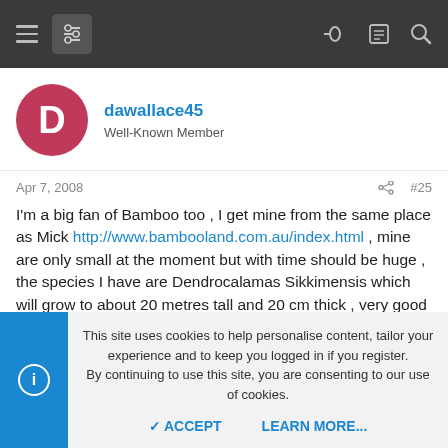Navigation bar with menu, filter, key, list, and search icons
dawallace45
Well-Known Member
Apr 7, 2008  #25
I'm a big fan of Bamboo too , I get mine from the same place as Mick http://www.bambooland.com.au/index.html , mine are only small at the moment but with time should be huge , the species I have are Dendrocalamas Sikkimensis which will grow to about 20 metres tall and 20 cm thick , very good timber bamboo , I have 10 of them planted , I also have a Murray Island Bamboo , a New Guinea Black and a Oldhamii , love the Oldhamii , will have to get several more , love the sound of the wind through the bamboo groves , like dozens of
This site uses cookies to help personalise content, tailor your experience and to keep you logged in if you register.
By continuing to use this site, you are consenting to our use of cookies.
ACCEPT  LEARN MORE...